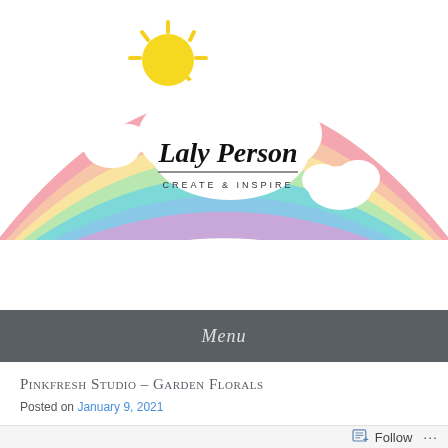[Figure (logo): Laly Person blog logo with rainbow arc, sun, clouds, and script text 'Laly Person - Create & Inspire']
Menu
Pinkfresh Studio – Garden Florals
Posted on January 9, 2021
Follow ...